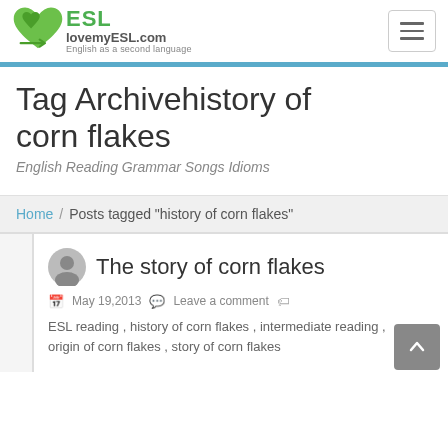ESL lovemyESL.com English as a second language
Tag Archivehistory of corn flakes
English Reading Grammar Songs Idioms
Home / Posts tagged "history of corn flakes"
The story of corn flakes
May 19,2013   Leave a comment
ESL reading , history of corn flakes , intermediate reading , origin of corn flakes , story of corn flakes